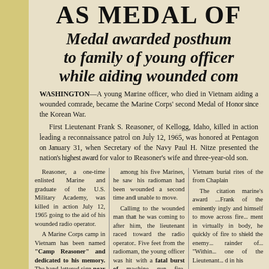AS MEDAL OF
Medal awarded posthumously to family of young officer while aiding wounded comrade
WASHINGTON—A young Marine officer, who died in Vietnam aiding a wounded comrade, became the Marine Corps' second Medal of Honor since the Korean War.
First Lieutenant Frank S. Reasoner, of Kellogg, Idaho, killed in action leading a reconnaissance patrol on July 12, 1965, was honored at Pentagon on January 31, when Secretary of the Navy Paul H. Nitze presented the nation's highest award for valor to Reasoner's wife and three-year-old son.
Reasoner, a one-time enlisted Marine and graduate of the U.S. Military Academy, was killed in action July 12, 1965 going to the aid of his wounded radio operator.
A Marine Corps camp in Vietnam has been named "Camp Reasoner" and dedicated to his memory. The hand-lettered sign near the gates of Camp Reasoner reads: "...First Lieutenant Reasoner sacrificed his life to save one of his wounded Marines. 'Greater Love Hath No Man'."
On the day he died, the lieutenant was leading an advance patrol of Company "A", 3d Reconnaissance Battalion, deep in Viet Cong territory, when he spotted a Viet Cong rifleman. He...
among his five Marines, he saw his radioman had been wounded a second time and unable to move.
Calling to the wounded man that he was coming to after him, the lieutenant raced toward the radio operator. Five feet from the radioman, the young officer was hit with a fatal burst of machine gun fire. Minutes before, Reasoner had succeeded in killing two of the estimated company of Viet Cong. Inspired by his actions, his men killed 18 more of the enemy, knocked out the machine gun, and heeding the lieutenant's last words, got their wounded comrades out safely.
Vietnam burial rites of the... from Chap...
The citation... marine's awa... ...Fr... of the eminently and... himself to m... across fire... ment in... virtually in... body, he qu... of fire to s... the enemy... rainder of... "Within... one of th... Lieutenant... d in h...